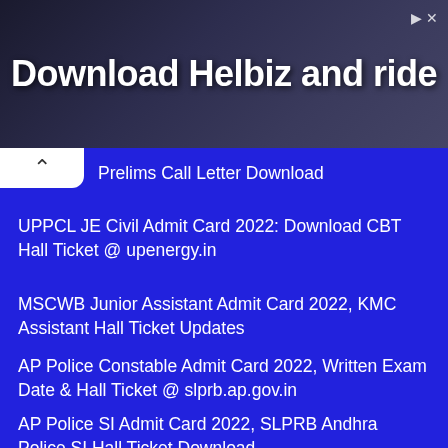[Figure (photo): Advertisement banner with dark background and text 'Download Helbiz and ride']
Prelims Call Letter Download
UPPCL JE Civil Admit Card 2022: Download CBT Hall Ticket @ upenergy.in
MSCWB Junior Assistant Admit Card 2022, KMC Assistant Hall Ticket Updates
AP Police Constable Admit Card 2022, Written Exam Date & Hall Ticket @ slprb.ap.gov.in
AP Police SI Admit Card 2022, SLPRB Andhra Police SI Hall Ticket Download